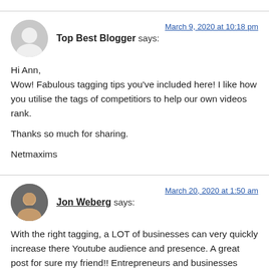Top Best Blogger says: March 9, 2020 at 10:18 pm
Hi Ann,
Wow! Fabulous tagging tips you've included here! I like how you utilise the tags of competitiors to help our own videos rank.

Thanks so much for sharing.

Netmaxims
Jon Weberg says: March 20, 2020 at 1:50 am
With the right tagging, a LOT of businesses can very quickly increase there Youtube audience and presence. A great post for sure my friend!! Entrepreneurs and businesses need to start FULLY utilizing